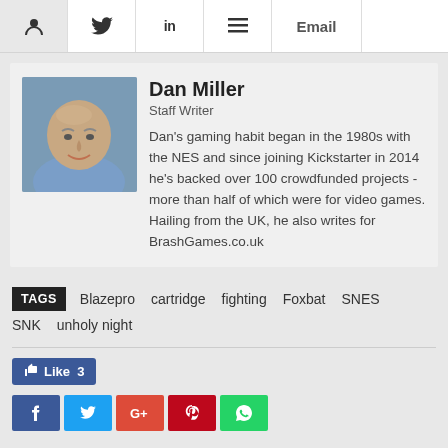Person | Twitter | LinkedIn | Menu | Email
[Figure (photo): Headshot photo of Dan Miller, a bald man smiling, wearing a blue shirt]
Dan Miller
Staff Writer
Dan's gaming habit began in the 1980s with the NES and since joining Kickstarter in 2014 he's backed over 100 crowdfunded projects - more than half of which were for video games. Hailing from the UK, he also writes for BrashGames.co.uk
TAGS  Blazepro  cartridge  fighting  Foxbat  SNES  SNK  unholy night
Like 3
[Figure (infographic): Row of social share buttons: Facebook (blue), Twitter (light blue), Google+ (red-orange), Pinterest (dark red), WhatsApp (green)]